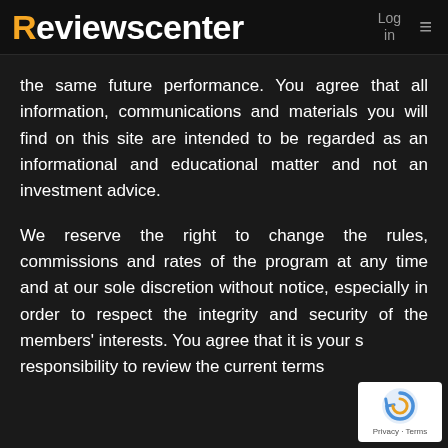Reviewscenter  Log in  ≡
the same future performance. You agree that all information, communications and materials you will find on this site are intended to be regarded as an informational and educational matter and not an investment advice.
We reserve the right to change the rules, commissions and rates of the program at any time and at our sole discretion without notice, especially in order to respect the integrity and security of the members' interests. You agree that it is your sole responsibility to review the current terms
[Figure (logo): Google reCAPTCHA badge with spinning arrow logo and Privacy · Terms text]